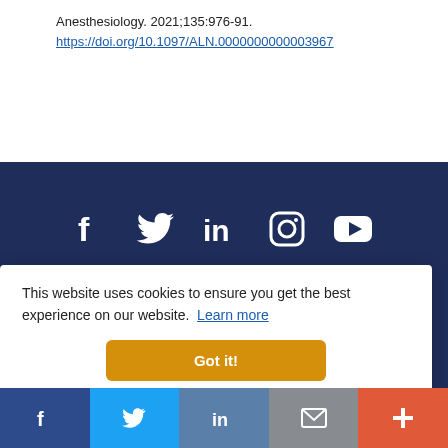Anesthesiology. 2021;135:976-91. https://doi.org/10.1097/ALN.0000000000003967
[Figure (screenshot): Dark navy blue footer section with white social media icons: Facebook (f), Twitter (bird), LinkedIn (in), Instagram (camera), YouTube (play button)]
Contact Us   About   Donate   Privacy Policy   Terms
This website uses cookies to ensure you get the best experience on our website. Learn more
Got it!
Facebook  Twitter  LinkedIn  Email  +